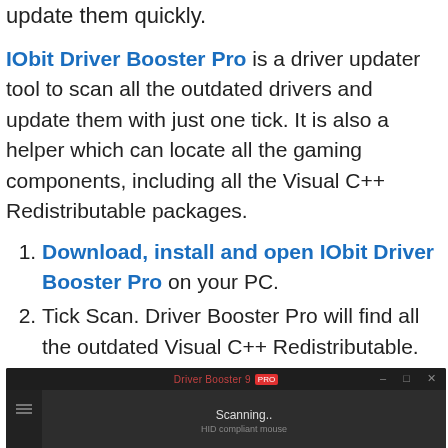update them quickly.
IObit Driver Booster Pro is a driver updater tool to scan all the outdated drivers and update them with just one tick. It is also a helper which can locate all the gaming components, including all the Visual C++ Redistributable packages.
Download, install and open IObit Driver Booster Pro on your PC.
Tick Scan. Driver Booster Pro will find all the outdated Visual C++ Redistributable.
[Figure (screenshot): Screenshot of IObit Driver Booster Pro application scanning, showing 'Scanning...' text and 'HID compliant mouse' with a circular gauge/dial in dark UI theme.]